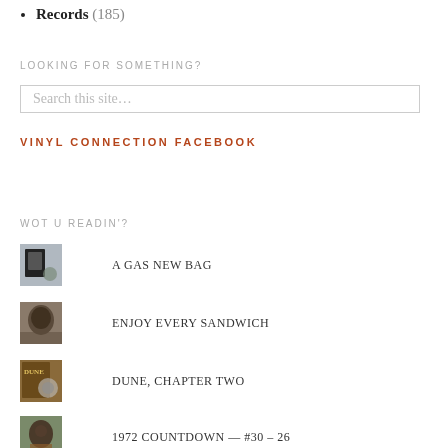Records (185)
LOOKING FOR SOMETHING?
Search this site...
VINYL CONNECTION FACEBOOK
WOT U READIN'?
A GAS NEW BAG
ENJOY EVERY SANDWICH
DUNE, CHAPTER TWO
1972 COUNTDOWN — #30 – 26